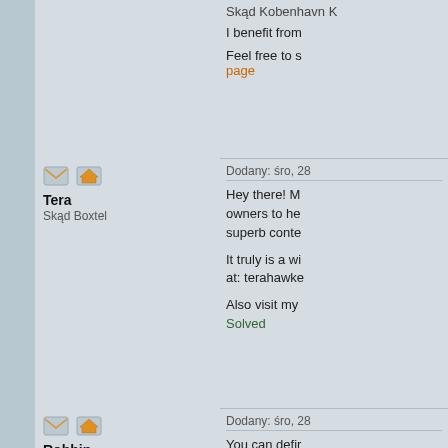Skąd Kobenhavn K
I benefit from
Feel free to s page
Tera
Skąd Boxtel
Dodany: śro, 28
Hey there! M owners to he superb conte
It truly is a wi at: terahawke
Also visit my Solved
Robbin
Skąd Sainte-Foy-Les-Lyon
Dodany: śro, 28
You can defir The world ho afraid to men
Stepanie
Skąd Felpham
Dodany: śro, 28
tarot divinato tarot egyptier tirage gratuit